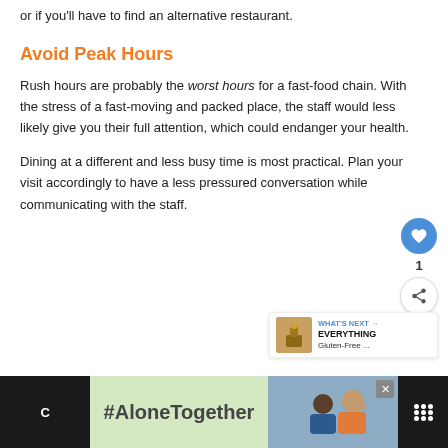or if you'll have to find an alternative restaurant.
Avoid Peak Hours
Rush hours are probably the worst hours for a fast-food chain. With the stress of a fast-moving and packed place, the staff would less likely give you their full attention, which could endanger your health.
Dining at a different and less busy time is most practical. Plan your visit accordingly to have a less pressured conversation while communicating with the staff.
[Figure (screenshot): Social action bar with heart icon (1 like) and share button]
[Figure (screenshot): What's Next widget showing 'EVERYTHING Gluten-Free ...' article thumbnail]
[Figure (screenshot): Advertisement banner at bottom with #AloneTogether hashtag, photo of couple, and logo]